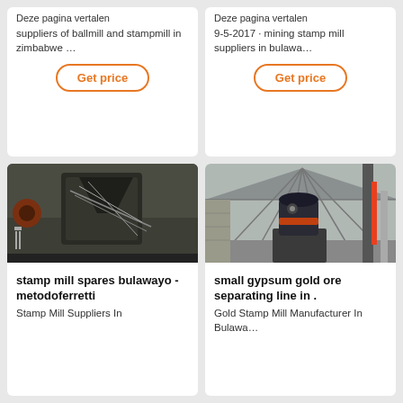Deze pagina vertalen
suppliers of ballmill and stampmill in zimbabwe …
Get price
Deze pagina vertalen
9-5-2017 · mining stamp mill suppliers in bulawa…
Get price
[Figure (photo): Industrial stamp mill machinery with cables and mechanical components in a workshop]
stamp mill spares bulawayo - metodoferretti
Stamp Mill Suppliers In
[Figure (photo): A large cylindrical gold ore separator machine inside a warehouse/industrial building]
small gypsum gold ore separating line in .
Gold Stamp Mill Manufacturer In Bulawa…